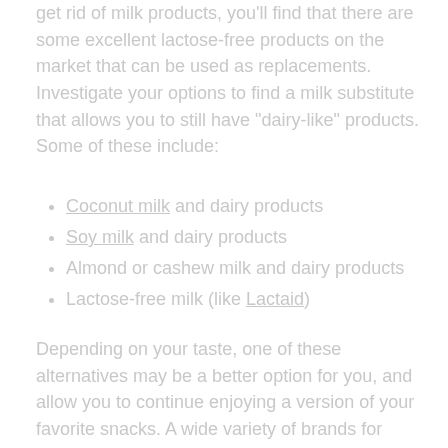get rid of milk products, you'll find that there are some excellent lactose-free products on the market that can be used as replacements. Investigate your options to find a milk substitute that allows you to still have "dairy-like" products. Some of these include:
Coconut milk and dairy products
Soy milk and dairy products
Almond or cashew milk and dairy products
Lactose-free milk (like Lactaid)
Depending on your taste, one of these alternatives may be a better option for you, and allow you to continue enjoying a version of your favorite snacks. A wide variety of brands for each of these milk alternatives can be found in health food stores, but mainstream grocery stores and markets have a wide